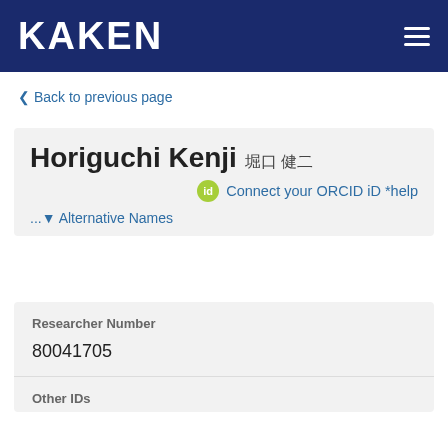KAKEN
< Back to previous page
Horiguchi Kenji 堀口 健二
Connect your ORCID iD *help
... ▼ Alternative Names
Researcher Number
80041705
Other IDs